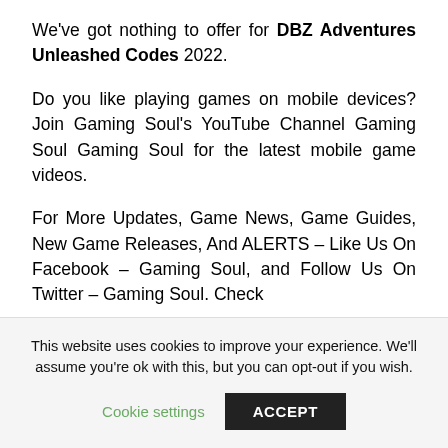We've got nothing to offer for DBZ Adventures Unleashed Codes 2022.
Do you like playing games on mobile devices? Join Gaming Soul's YouTube Channel Gaming Soul Gaming Soul for the latest mobile game videos.
For More Updates, Game News, Game Guides, New Game Releases, And ALERTS – Like Us On Facebook – Gaming Soul, and Follow Us On Twitter – Gaming Soul. Check
This website uses cookies to improve your experience. We'll assume you're ok with this, but you can opt-out if you wish.
Cookie settings
ACCEPT